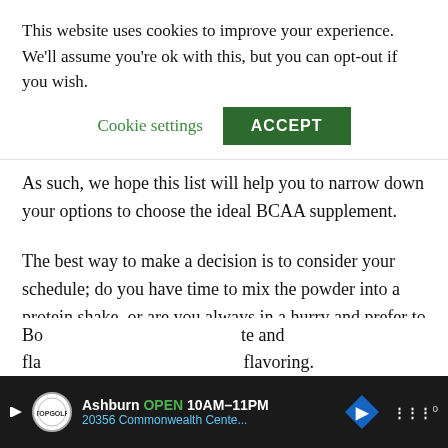This website uses cookies to improve your experience. We'll assume you're ok with this, but you can opt-out if you wish.
Cookie settings | ACCEPT
As such, we hope this list will help you to narrow down your options to choose the ideal BCAA supplement.
The best way to make a decision is to consider your schedule; do you have time to mix the powder into a protein shake, or are you always in a hurry and prefer to get the capsules for convenience.
Also, is taste important to you?
Bo... te and fla... flavoring.